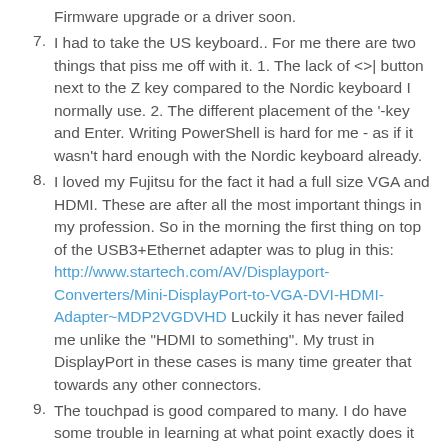Firmware upgrade or a driver soon.
I had to take the US keyboard.. For me there are two things that piss me off with it. 1. The lack of <>| button next to the Z key compared to the Nordic keyboard I normally use. 2. The different placement of the '-key and Enter. Writing PowerShell is hard for me - as if it wasn't hard enough with the Nordic keyboard already.
I loved my Fujitsu for the fact it had a full size VGA and HDMI. These are after all the most important things in my profession. So in the morning the first thing on top of the USB3+Ethernet adapter was to plug in this: http://www.startech.com/AV/Displayport-Converters/Mini-DisplayPort-to-VGA-DVI-HDMI-Adapter~MDP2VGDVHD Luckily it has never failed me unlike the "HDMI to something". My trust in DisplayPort in these cases is many time greater that towards any other connectors.
The touchpad is good compared to many. I do have some trouble in learning at what point exactly does it believe I'm clicking a button.. A bit too big an area is reserved for the buttons from the lower part of the pad -